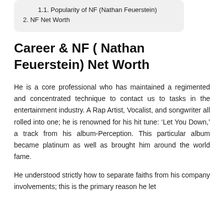1.1. Popularity of NF (Nathan Feuerstein)
2. NF Net Worth
Career & NF ( Nathan Feuerstein) Net Worth
He is a core professional who has maintained a regimented and concentrated technique to contact us to tasks in the entertainment industry. A Rap Artist, Vocalist, and songwriter all rolled into one; he is renowned for his hit tune: ‘Let You Down,’ a track from his album-Perception. This particular album became platinum as well as brought him around the world fame.
He understood strictly how to separate faiths from his company involvements; this is the primary reason he let